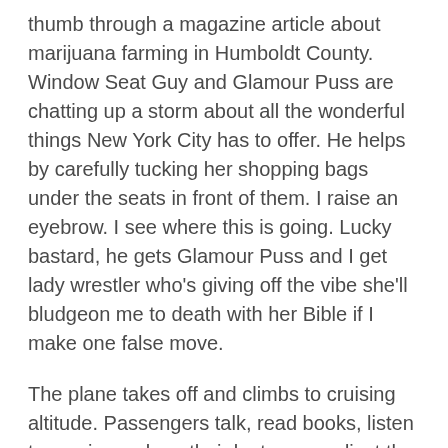thumb through a magazine article about marijuana farming in Humboldt County. Window Seat Guy and Glamour Puss are chatting up a storm about all the wonderful things New York City has to offer. He helps by carefully tucking her shopping bags under the seats in front of them. I raise an eyebrow. I see where this is going. Lucky bastard, he gets Glamour Puss and I get lady wrestler who's giving off the vibe she'll bludgeon me to death with her Bible if I make one false move.
The plane takes off and climbs to cruising altitude. Passengers talk, read books, listen to music, work on their laptops or adjust the seat back and rest. Window Seat Guy and Glamour Puss lounge across all three seats like they're lying around in their living room. Ensconced in pillows and blankets, they're drinking wine and giggling themselves silly. Bible Lady is already fast asleep and snoring like a buzz saw, head lolling on her ample bosom. Every so often she stops. Dead Silence. While this may be preferable to the